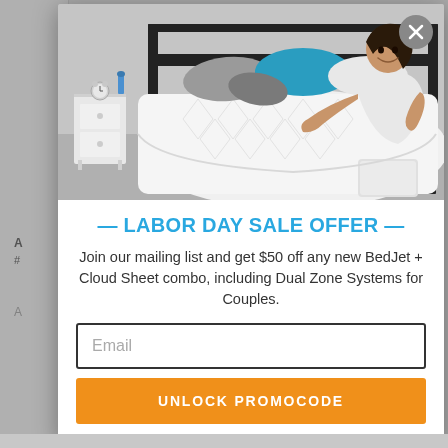[Figure (photo): Woman lying on a bed with white bedding, gray and teal pillows, beside a white nightstand with a clock. A white BedJet unit visible at foot of bed. Gray background.]
— LABOR DAY SALE OFFER —
Join our mailing list and get $50 off any new BedJet + Cloud Sheet combo, including Dual Zone Systems for Couples.
Email
UNLOCK PROMOCODE
We will never share or sell your personal information, and you can unsubscribe at any time.